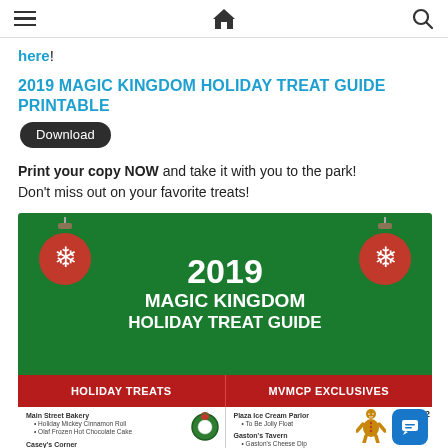Navigation header with hamburger menu, home icon, search icon
here!
2019 MAGIC KINGDOM HOLIDAY TREAT GUIDE PRINTABLE
Print your copy NOW and take it with you to the park! Don't miss out on your favorite treats!
[Figure (infographic): 2019 Magic Kingdom Holiday Treat Guide infographic with green header showing title, red banner with two columns (Holiday Treats and MVMCP Exclusives), and white content area listing treats by vendor including Main Street Bakery, Casey's Corner, Storybook Treats on the left; Plaza Ice Cream Parlor, Gaston's Tavern, Cosmic Ray's Starlight Cafe on the right. Decorative Christmas ornaments, wreath, and gingerbread man images.]